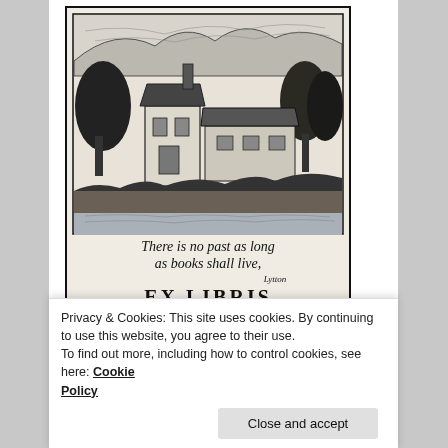[Figure (illustration): An ex libris bookplate illustration showing a rural English scene with a cottage, bridge over water, hills and trees in a woodcut/engraving style. Below the scene, calligraphic text reads: 'There is no past as long as books shall live, Lytton' and 'EX LIBRIS' in block letters.]
Privacy & Cookies: This site uses cookies. By continuing to use this website, you agree to their use.
To find out more, including how to control cookies, see here: Cookie Policy
Close and accept
[Figure (illustration): Bottom strip showing partial book cover with 'Natural History' text and decorative imagery]